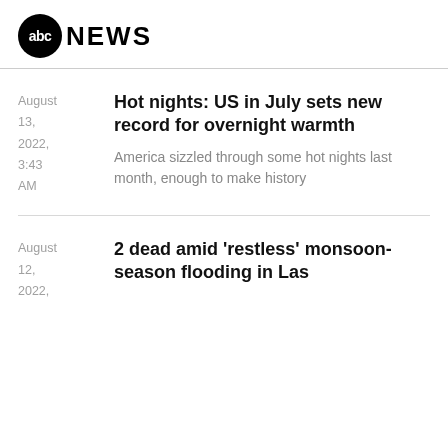abc NEWS
Hot nights: US in July sets new record for overnight warmth
August 13, 2022, 3:43 AM
America sizzled through some hot nights last month, enough to make history
2 dead amid 'restless' monsoon-season flooding in Las
August 12, 2022,